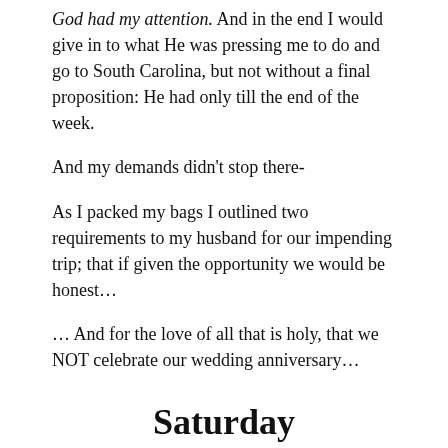God had my attention. And in the end I would give in to what He was pressing me to do and go to South Carolina, but not without a final proposition: He had only till the end of the week.
And my demands didn't stop there-
As I packed my bags I outlined two requirements to my husband for our impending trip; that if given the opportunity we would be honest…
… And for the love of all that is holy, that we NOT celebrate our wedding anniversary…
Saturday
– The Defeat Of Unworthiness –